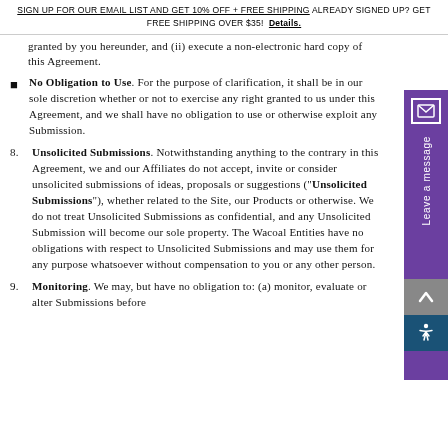SIGN UP FOR OUR EMAIL LIST AND GET 10% OFF + FREE SHIPPING ALREADY SIGNED UP? GET FREE SHIPPING OVER $35! Details.
granted by you hereunder, and (ii) execute a non-electronic hard copy of this Agreement.
No Obligation to Use. For the purpose of clarification, it shall be in our sole discretion whether or not to exercise any right granted to us under this Agreement, and we shall have no obligation to use or otherwise exploit any Submission.
8. Unsolicited Submissions. Notwithstanding anything to the contrary in this Agreement, we and our Affiliates do not accept, invite or consider unsolicited submissions of ideas, proposals or suggestions ("Unsolicited Submissions"), whether related to the Site, our Products or otherwise. We do not treat Unsolicited Submissions as confidential, and any Unsolicited Submission will become our sole property. The Wacoal Entities have no obligations with respect to Unsolicited Submissions and may use them for any purpose whatsoever without compensation to you or any other person.
9. Monitoring. We may, but have no obligation to: (a) monitor, evaluate or alter Submissions before